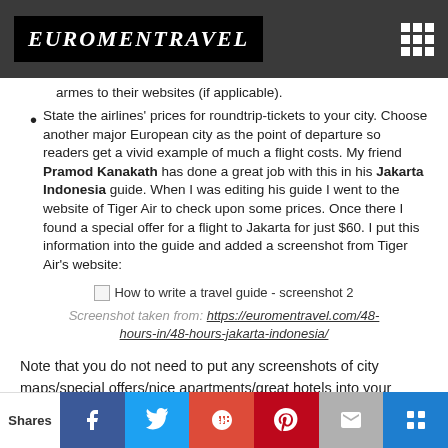EuroMenTravel
armes to their websites (if applicable).
State the airlines' prices for roundtrip-tickets to your city. Choose another major European city as the point of departure so readers get a vivid example of much a flight costs. My friend Pramod Kanakath has done a great job with this in his Jakarta Indonesia guide. When I was editing his guide I went to the website of Tiger Air to check upon some prices. Once there I found a special offer for a flight to Jakarta for just $60. I put this information into the guide and added a screenshot from Tiger Air's website:
[Figure (screenshot): How to write a travel guide - screenshot 2]
Screenshot taken from: https://euromentravel.com/48-hours-in/48-hours-jakarta-indonesia/
Note that you do not need to put any screenshots of city maps/special offers/nice apartments/great hotels into your guide. I will do that for you. However, what you need to do is tell
Shares